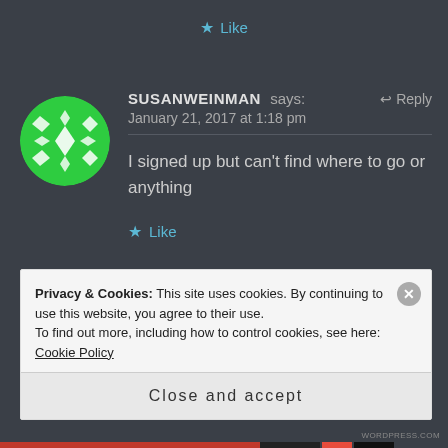★ Like
[Figure (illustration): Green circular avatar with white geometric/kaleidoscope pattern]
SUSANWEINMAN says:    ↩ Reply
January 21, 2017 at 1:18 pm
I signed up but can't find where to go or anything
★ Like
Privacy & Cookies: This site uses cookies. By continuing to use this website, you agree to their use.
To find out more, including how to control cookies, see here: Cookie Policy
Close and accept